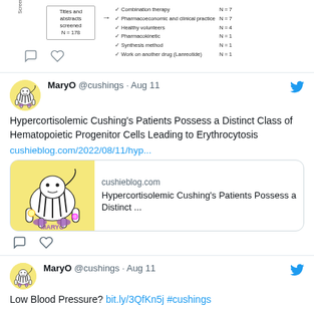[Figure (flowchart): Partial flowchart showing screening process with N=178, listing excluded categories: Combination therapy N=7, Pharmacoeconomic and clinical practice N=7, Healthy volunteers N=4, Pharmacokinetic N=1, Synthesis method N=1, Work on another drug (Lanreotide) N=1]
MaryO @cushings · Aug 11
Hypercortisolemic Cushing's Patients Possess a Distinct Class of Hematopoietic Progenitor Cells Leading to Erythrocytosis
cushieblog.com/2022/08/11/hyp...
[Figure (screenshot): Link preview card for cushieblog.com showing zebra logo and title: Hypercortisolemic Cushing's Patients Possess a Distinct ...]
MaryO @cushings · Aug 11
Low Blood Pressure? bit.ly/3QfKn5j #cushings